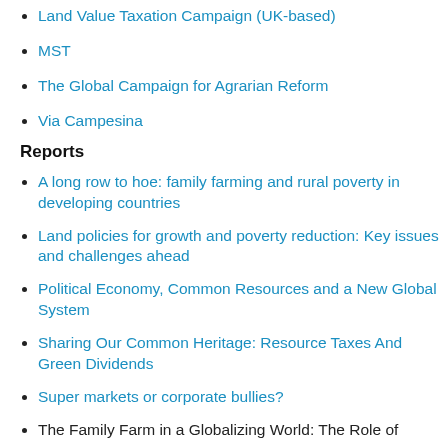Land Value Taxation Campaign (UK-based)
MST
The Global Campaign for Agrarian Reform
Via Campesina
Reports
A long row to hoe: family farming and rural poverty in developing countries
Land policies for growth and poverty reduction: Key issues and challenges ahead
Political Economy, Common Resources and a New Global System
Sharing Our Common Heritage: Resource Taxes And Green Dividends
Super markets or corporate bullies?
The Family Farm in a Globalizing World: The Role of Cooperatives in Alleviating Poverty